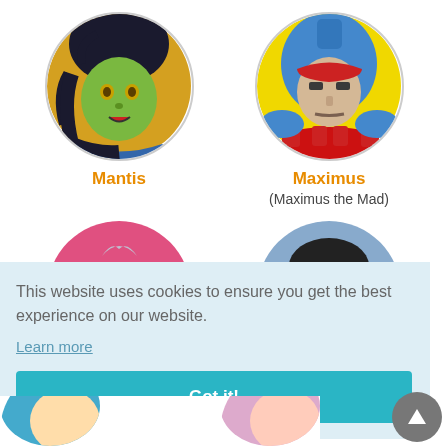[Figure (illustration): Circular avatar portrait of Mantis, a green-skinned Marvel character with dark hair]
Mantis
[Figure (illustration): Circular avatar portrait of Maximus, a Marvel character in blue and red armor costume]
Maximus
(Maximus the Mad)
[Figure (illustration): Partial circular avatar with red and pink superhero costume visible]
[Figure (illustration): Partial circular avatar showing a character in blue costume]
This website uses cookies to ensure you get the best experience on our website.
Learn more
Got it!
[Figure (illustration): Partially visible bottom row character avatars]
[Figure (illustration): Scroll to top button - grey circle with upward arrow]